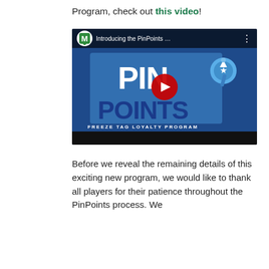Program, check out this video!
[Figure (screenshot): YouTube video thumbnail for 'Introducing the PinPoints ...' showing the PinPoints Freeze Tag Loyalty Program logo — bold white 'PIN POINTS' text on a blue background with a blue pushpin graphic and a red YouTube play button in the center. Bottom bar is black.]
Before we reveal the remaining details of this exciting new program, we would like to thank all players for their patience throughout the PinPoints process. We